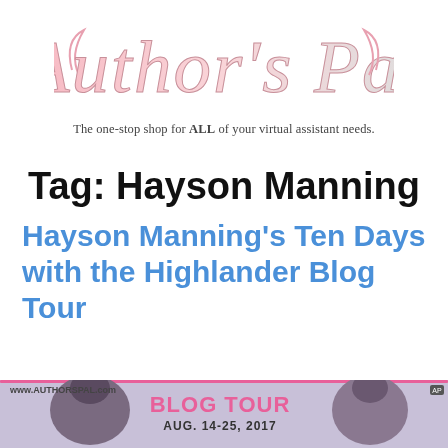[Figure (logo): Author's Pal logo in stylized script font with pink-to-white gradient coloring]
The one-stop shop for ALL of your virtual assistant needs.
Tag: Hayson Manning
Hayson Manning's Ten Days with the Highlander Blog Tour
[Figure (photo): Blog tour banner image showing www.AUTHORSPAL.com website, 'BLOG TOUR AUG. 14-25, 2017' text in pink, and two people in an embrace]